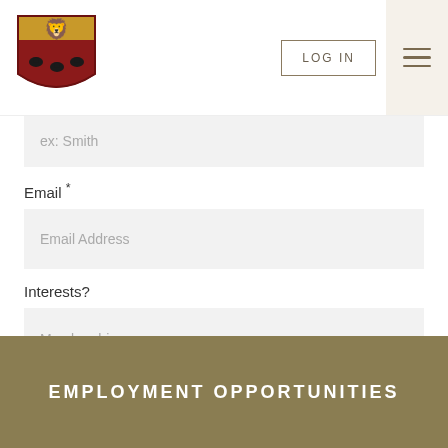[Figure (logo): University shield crest logo with red and gold heraldic design]
LOG IN
ex: Smith
Email *
Email Address
Interests?
Membership
SUBMIT
EMPLOYMENT OPPORTUNITIES